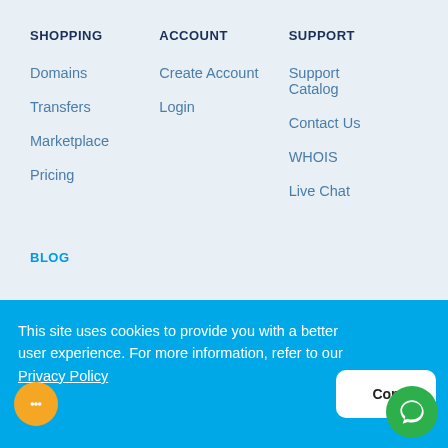SHOPPING
Domains
Transfers
Marketplace
Pricing
ACCOUNT
Create Account
Login
SUPPORT
Support Catalog
Contact Us
WHOIS
Live Chat
BLOG
This site uses cookies to provide you with a better user experience. For more information, refer to our Privacy Policy